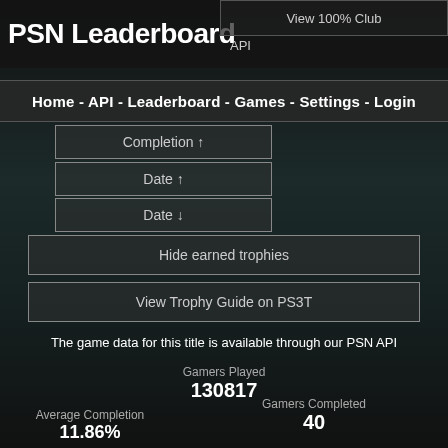PSN Leaderboard
View 100% Club
API
Home - API - Leaderboard - Games - Settings - Login
Completion ↑
Date ↑
Date ↓
Hide earned trophies
View Trophy Guide on PS3T
The game data for this title is available through our PSN API
Gamers Played
130817
Gamers Completed
40
Average Completion
11.86%